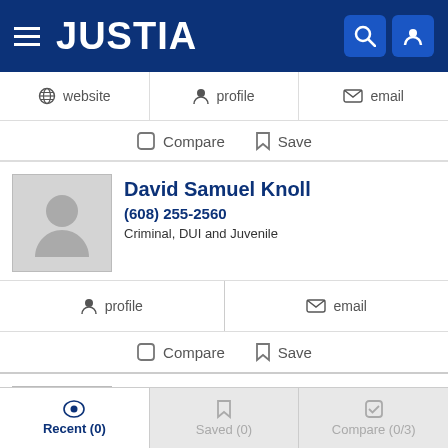JUSTIA
website  profile  email
Compare  Save
David Samuel Knoll
(608) 255-2560
Criminal, DUI and Juvenile
profile  email
Compare  Save
Nicholas Gansner
(608) 237-6854
Recent (0)  Saved (0)  Compare (0/3)